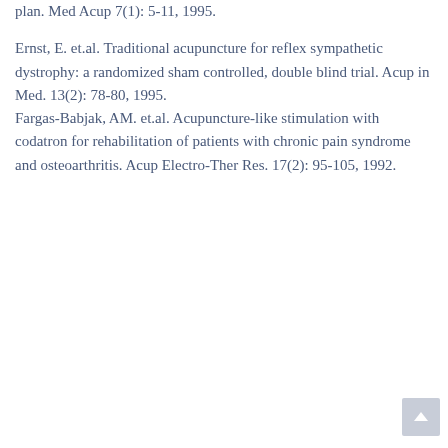plan. Med Acup 7(1): 5-11, 1995.
Ernst, E. et.al. Traditional acupuncture for reflex sympathetic dystrophy: a randomized sham controlled, double blind trial. Acup in Med. 13(2): 78-80, 1995.
Fargas-Babjak, AM. et.al. Acupuncture-like stimulation with codatron for rehabilitation of patients with chronic pain syndrome and osteoarthritis. Acup Electro-Ther Res. 17(2): 95-105, 1992.